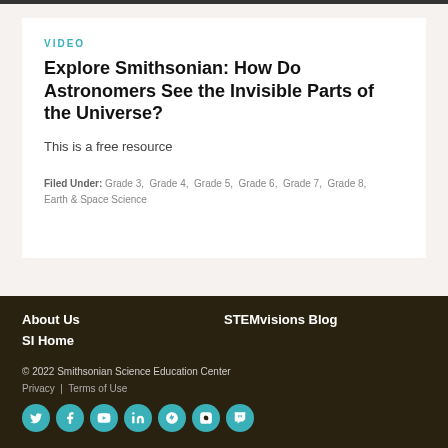VIDEO
Explore Smithsonian: How Do Astronomers See the Invisible Parts of the Universe?
This is a free resource
Filed Under: Grade 3, Grade 4, Grade 5, Grade 6, Grade 7, Grade 8, Earth & Space Science
About Us  STEMvisions Blog  SI Home  © 2022 Smithsonian Science Education Center  Privacy | Terms of Use